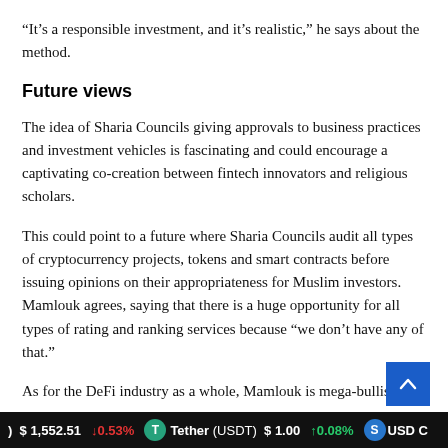“It’s a responsible investment, and it’s realistic,” he says about the method.
Future views
The idea of Sharia Councils giving approvals to business practices and investment vehicles is fascinating and could encourage a captivating co-creation between fintech innovators and religious scholars.
This could point to a future where Sharia Councils audit all types of cryptocurrency projects, tokens and smart contracts before issuing opinions on their appropriateness for Muslim investors. Mamlouk agrees, saying that there is a huge opportunity for all types of rating and ranking services because “we don’t have any of that.”
As for the DeFi industry as a whole, Mamlouk is mega-bullish
$ 1,552.51  ↓0.53%   Tether (USDT)  $ 1.00  ↑0.08%   USD C